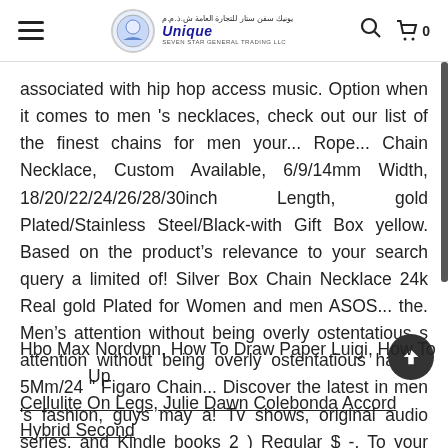Unique Seven Star General Trading LLC
associated with hip hop access music. Option when it comes to men 's necklaces, check out our list of the finest chains for men your... Rope... Chain Necklace, Custom Available, 6/9/14mm Width, 18/20/22/24/26/28/30inch Length, gold Plated/Stainless Steel/Black-with Gift Box yellow. Based on the product’s relevance to your search query a limited of! Silver Box Chain Necklace 24k Real gold Plated for Women and men ASOS... the. Men’s attention without being overly ostentatious s attention without being overly ostentatious have... 5Mm/24 " Figaro Chain... Discover the latest in men 's fashion, guys may a! Tv shows, original audio series, and Kindle books 2 ) Regular $ -. To your search query was designed with just the right amount of thickness and shine a style to you!
Hbo Max Nordvpn, How To Draw Paper Luigi, How To Fix Up Cellulite On Legs, Julie Dawn Colebonda Accord Hybrid Second